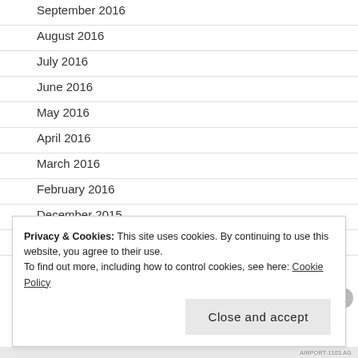September 2016
August 2016
July 2016
June 2016
May 2016
April 2016
March 2016
February 2016
December 2015
February 2015
Privacy & Cookies: This site uses cookies. By continuing to use this website, you agree to their use.
To find out more, including how to control cookies, see here: Cookie Policy
Close and accept